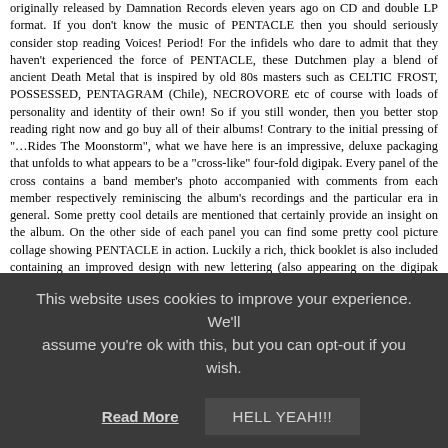originally released by Damnation Records eleven years ago on CD and double LP format. If you don't know the music of PENTACLE then you should seriously consider stop reading Voices! Period! For the infidels who dare to admit that they haven't experienced the force of PENTACLE, these Dutchmen play a blend of ancient Death Metal that is inspired by old 80s masters such as CELTIC FROST, POSSESSED, PENTAGRAM (Chile), NECROVORE etc of course with loads of personality and identity of their own! So if you still wonder, then you better stop reading right now and go buy all of their albums! Contrary to the initial pressing of "…Rides The Moonstorm", what we have here is an impressive, deluxe packaging that unfolds to what appears to be a "cross-like" four-fold digipak. Every panel of the cross contains a band member's photo accompanied with comments from each member respectively reminiscing the album's recordings and the particular era in general. Some pretty cool details are mentioned that certainly provide an insight on the album. On the other side of each panel you can find some pretty cool picture collage showing PENTACLE in action. Luckily a rich, thick booklet is also included containing an improved design with new lettering (also appearing on the digipak panels) and is full of lyrics, liner notes from Wannes with comments about each song and the respective lyrics-theme plus some extra clippings from magazines. The music content remains the same compared to the original version and as Wannes mentioned, this was done intentionally to preserve the original essence of the record. A wise decision if you ask me, because the album is
This website uses cookies to improve your experience. We'll assume you're ok with this, but you can opt-out if you wish.
Read More | HELL YEAH!!!